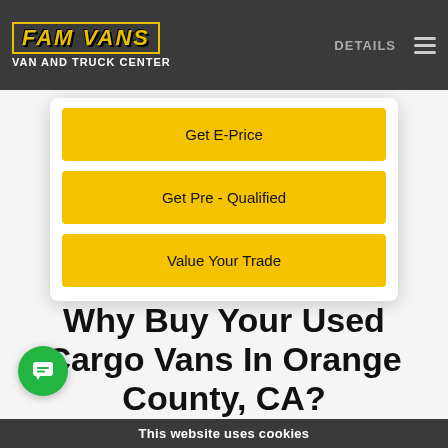FAM VANS VAN AND TRUCK CENTER
Get E-Price
Get Pre - Qualified
Value Your Trade
Why Buy Your Used Cargo Vans In Orange County, CA?
This website uses cookies